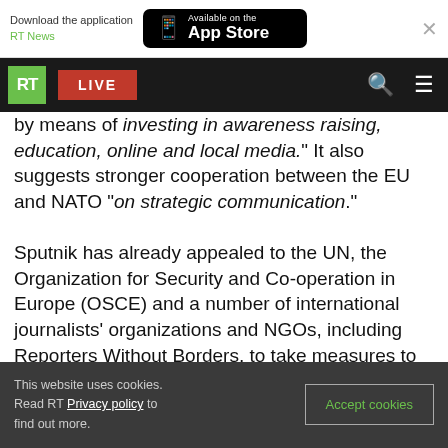[Figure (screenshot): App download banner with RT News text and App Store button]
[Figure (screenshot): RT website navigation bar with RT logo, LIVE button, search and menu icons]
by means of "investing in awareness raising, education, online and local media." It also suggests stronger cooperation between the EU and NATO "on strategic communication."
Sputnik has already appealed to the UN, the Organization for Security and Co-operation in Europe (OSCE) and a number of international journalists' organizations and NGOs, including Reporters Without Borders, to take measures to stop what it considers to be interference into
This website uses cookies. Read RT Privacy policy to find out more.